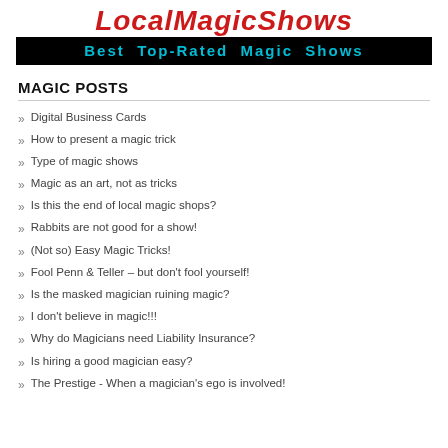LocalMagicShows
Best Top-Rated Magic Shows
MAGIC POSTS
Digital Business Cards
How to present a magic trick
Type of magic shows
Magic as an art, not as tricks
Is this the end of local magic shops?
Rabbits are not good for a show!
(Not so) Easy Magic Tricks!
Fool Penn & Teller – but don't fool yourself!
Is the masked magician ruining magic?
I don't believe in magic!!!
Why do Magicians need Liability Insurance?
Is hiring a good magician easy?
The Prestige - When a magician's ego is involved!